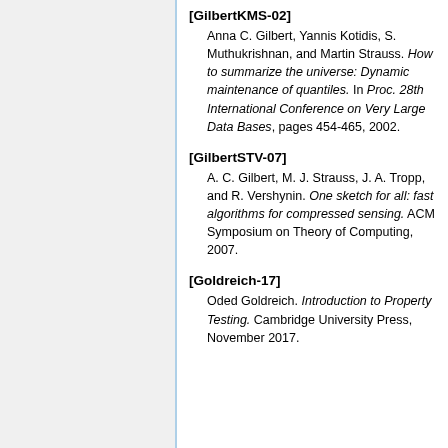[GilbertKMS-02] Anna C. Gilbert, Yannis Kotidis, S. Muthukrishnan, and Martin Strauss. How to summarize the universe: Dynamic maintenance of quantiles. In Proc. 28th International Conference on Very Large Data Bases, pages 454-465, 2002.
[GilbertSTV-07] A. C. Gilbert, M. J. Strauss, J. A. Tropp, and R. Vershynin. One sketch for all: fast algorithms for compressed sensing. ACM Symposium on Theory of Computing, 2007.
[Goldreich-17] Oded Goldreich. Introduction to Property Testing. Cambridge University Press, November 2017.